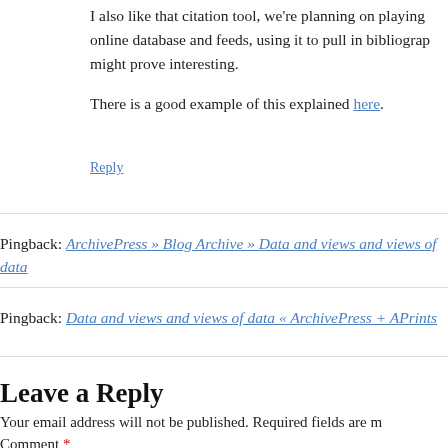I also like that citation tool, we're planning on playing online database and feeds, using it to pull in bibliograp might prove interesting.
There is a good example of this explained here.
Reply
Pingback: ArchivePress » Blog Archive » Data and views and views of data
Pingback: Data and views and views of data « ArchivePress + APrints
Leave a Reply
Your email address will not be published. Required fields are m
Comment *